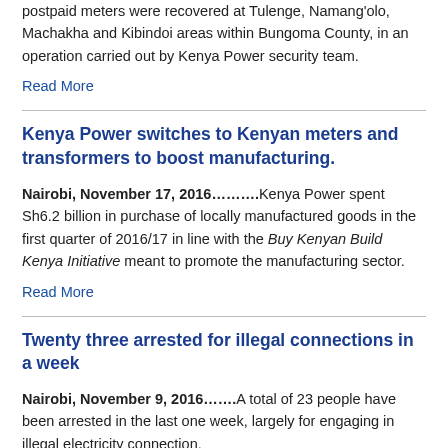postpaid meters were recovered at Tulenge, Namang'olo, Machakha and Kibindoi areas within Bungoma County, in an operation carried out by Kenya Power security team.
Read More
Kenya Power switches to Kenyan meters and transformers to boost manufacturing.
Nairobi, November 17, 2016..........Kenya Power spent Sh6.2 billion in purchase of locally manufactured goods in the first quarter of 2016/17 in line with the Buy Kenyan Build Kenya Initiative meant to promote the manufacturing sector.
Read More
Twenty three arrested for illegal connections in a week
Nairobi, November 9, 2016........A total of 23 people have been arrested in the last one week, largely for engaging in illegal electricity connection.
Kitui and Kikuyu areas recorded the highest number of arrests at 12 while Kisumu and Kakamega were second with